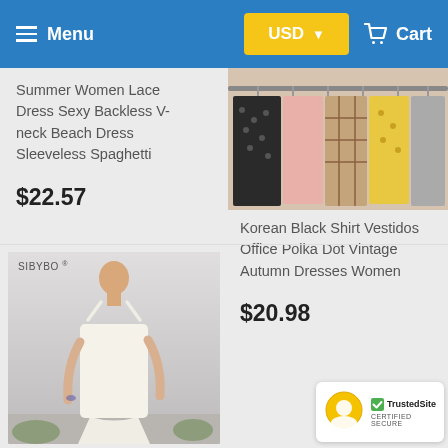Menu | USD | Cart
Summer Women Lace Dress Sexy Backless V-neck Beach Dress Sleeveless Spaghetti
$22.57
[Figure (photo): Colorful dresses hanging on a rack, including polka dot and plaid patterns]
Korean Black Shirt Vestidos Office Polka Dot Vintage Autumn Dresses Women
$20.98
[Figure (photo): Woman in a white sleeveless fitted dress, SIBYBO label in corner]
[Figure (logo): TrustedSite Certified Secure badge with yellow circle icon and green checkmark]